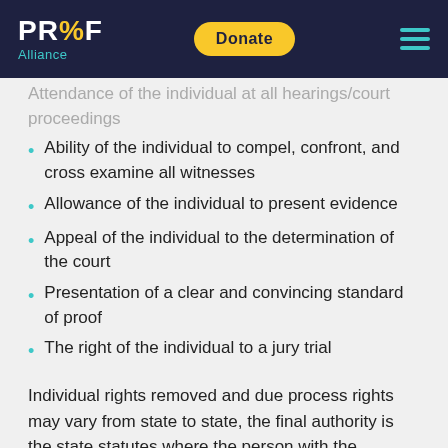PR%F Alliance | Donate
Attendance of the individual at all hearings/court proceedings
Ability of the individual to compel, confront, and cross examine all witnesses
Allowance of the individual to present evidence
Appeal of the individual to the determination of the court
Presentation of a clear and convincing standard of proof
The right of the individual to a jury trial
Individual rights removed and due process rights may vary from state to state, the final authority is the state statutes where the person with the disability lives. In any type of guardianship, the court may limit the guardian's authority. The guiding principle in all guardianship is that of least intrusive measures to